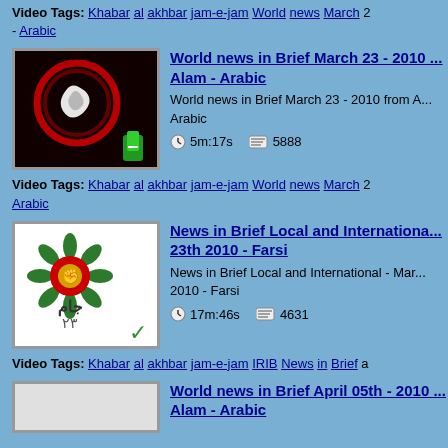Video Tags: Khabar al akhbar jam-e-jam World news March 2 - Arabic
[Figure (screenshot): Video thumbnail showing dark background with red circular swirl and white decorative element, with a phone icon in corner]
World news in Brief March 23 - 2010 ... Alam - Arabic
World news in Brief March 23 - 2010 from A... Arabic
5m:17s   5888
Video Tags: Khabar al akhbar jam-e-jam World news March 2 Arabic
[Figure (screenshot): Video thumbnail showing colorful logo with red and green circular design and text in Farsi, with a green checkmark in corner]
News in Brief Local and Internationa... 23th 2010 - Farsi
News in Brief Local and International - Mar... 2010 - Farsi
17m:46s   4631
Video Tags: Khabar al akhbar jam-e-jam IRIB News in Brief a
[Figure (screenshot): Video thumbnail, partially visible, light background]
World news in Brief April 05th - 2010 ... Alam - Arabic